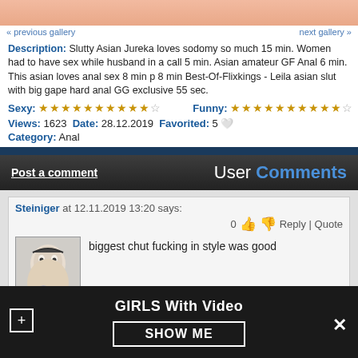[Figure (photo): Top portion of an image, flesh-toned background, partially cropped]
« previous gallery    next gallery »
Description: Slutty Asian Jureka loves sodomy so much 15 min. Women had to have sex while husband in a call 5 min. Asian amateur GF Anal 6 min. This asian loves anal sex 8 min p 8 min Best-Of-Flixkings - Leila asian slut with big gape hard anal GG exclusive 55 sec.
Sexy: ★★★★★★★★★★☆   Funny: ★★★★★★★★★★☆
Views: 1623  Date: 28.12.2019  Favorited: 5 🤍
Category: Anal
Post a comment    User Comments
Steiniger at 12.11.2019 13:20 says:
biggest chut fucking in style was good
GIRLS With Video
SHOW ME